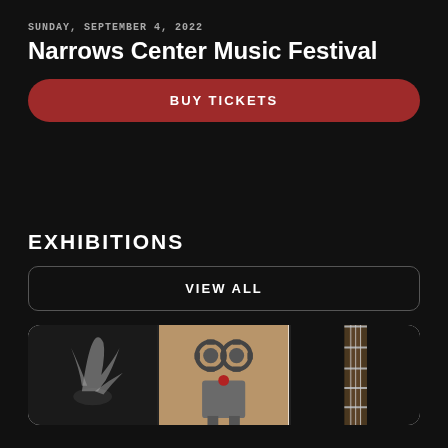SUNDAY, SEPTEMBER 4, 2022
Narrows Center Music Festival
BUY TICKETS
EXHIBITIONS
VIEW ALL
[Figure (photo): Gallery card showing three artwork photos: a metallic bird sculpture on dark background, a mechanical/steampunk robot sculpture on tan background, and a guitar neck on dark background.]